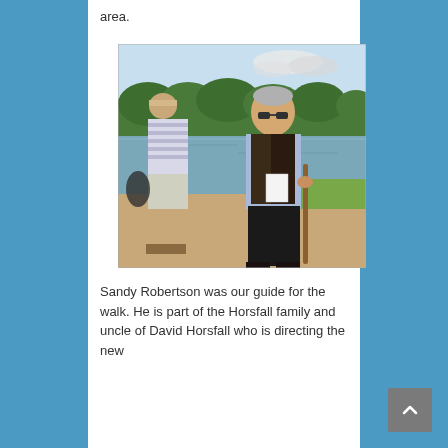area.
[Figure (photo): Outdoor photo showing two people near a river or pond. The foreground figure is an older man wearing sunglasses, a dark vest over a light blue shirt, holding a walking stick and a white paper. Beside him on the left is another person in a striped shirt and shorts. Green trees and calm water are visible in the background under a partly cloudy sky.]
Sandy Robertson was our guide for the walk. He is part of the Horsfall family and uncle of David Horsfall who is directing the new